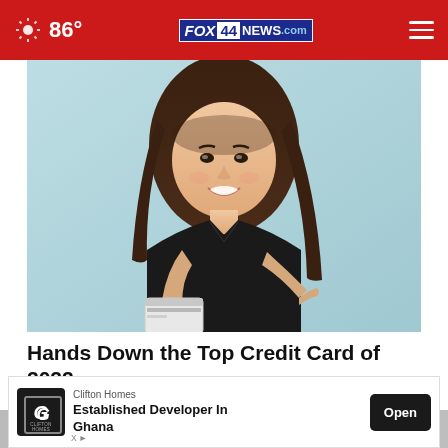86° FOX 44 NEWS.com
[Figure (photo): Young woman with long dark hair wearing a black v-neck shirt, smiling and pointing at a credit card she is holding up, against a light teal background.]
Hands Down the Top Credit Card of 2022
CompareCredit
[Figure (photo): Partial second image strip visible at bottom, blurred background.]
Clifton Homes
Established Developer In Ghana
Open